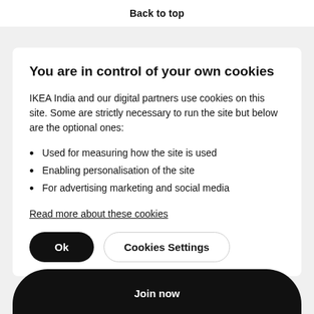Back to top
You are in control of your own cookies
IKEA India and our digital partners use cookies on this site. Some are strictly necessary to run the site but below are the optional ones:
Used for measuring how the site is used
Enabling personalisation of the site
For advertising marketing and social media
Read more about these cookies
Ok
Cookies Settings
Join now